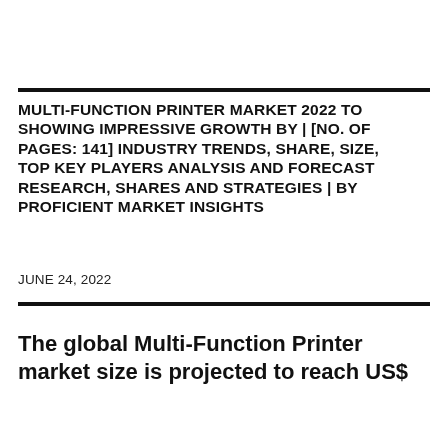MULTI-FUNCTION PRINTER MARKET 2022 TO SHOWING IMPRESSIVE GROWTH BY | [NO. OF PAGES: 141] INDUSTRY TRENDS, SHARE, SIZE, TOP KEY PLAYERS ANALYSIS AND FORECAST RESEARCH, SHARES AND STRATEGIES | BY PROFICIENT MARKET INSIGHTS
JUNE 24, 2022
The global Multi-Function Printer market size is projected to reach US$